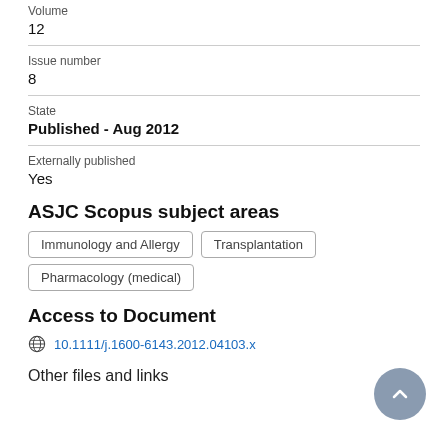Volume
12
Issue number
8
State
Published - Aug 2012
Externally published
Yes
ASJC Scopus subject areas
Immunology and Allergy
Transplantation
Pharmacology (medical)
Access to Document
10.1111/j.1600-6143.2012.04103.x
Other files and links